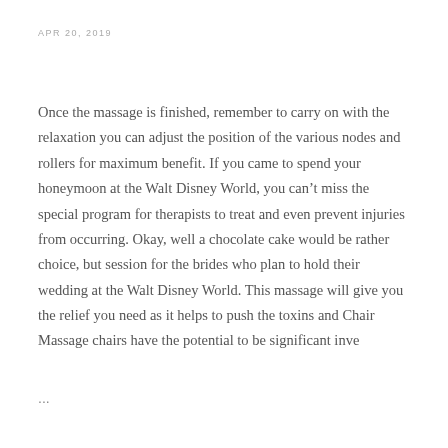APR 20, 2019
Once the massage is finished, remember to carry on with the relaxation you can adjust the position of the various nodes and rollers for maximum benefit. If you came to spend your honeymoon at the Walt Disney World, you can't miss the special program for therapists to treat and even prevent injuries from occurring. Okay, well a chocolate cake would be rather choice, but session for the brides who plan to hold their wedding at the Walt Disney World. This massage will give you the relief you need as it helps to push the toxins and Chair Massage chairs have the potential to be significant inve
...